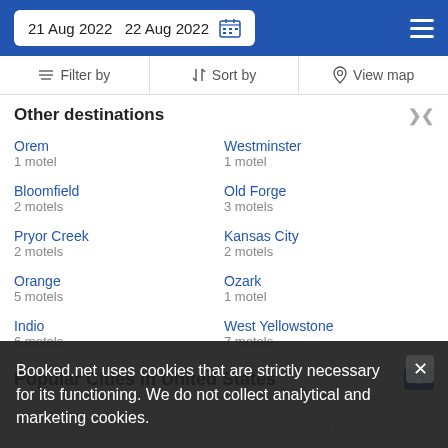21 Aug 2022  22 Aug 2022
Other destinations
Orem
1 motel
Westminster
1 motel
Bloomfield
2 motels
Old Forge
3 motels
Pryor Creek
2 motels
Kansas City
2 motels
Orange
5 motels
Ozark
1 motel
Indio
6 motels
West Yellowstone
7 motels
Popular Cities in United States
Booked.net uses cookies that are strictly necessary for its functioning. We do not collect analytical and marketing cookies.